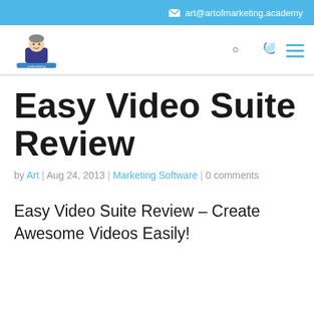art@artofmarketing.academy
[Figure (logo): Art of Marketing Academy logo with cartoon figure]
Easy Video Suite Review
by Art | Aug 24, 2013 | Marketing Software | 0 comments
Easy Video Suite Review – Create Awesome Videos Easily!